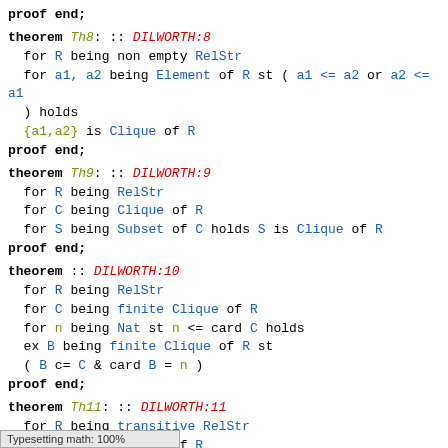proof end;
theorem Th8: :: DILWORTH:8
  for R being non empty RelStr
  for a1, a2 being Element of R st ( a1 <= a2 or a2 <= a1
  ) holds
  {a1,a2} is Clique of R
proof end;
theorem Th9: :: DILWORTH:9
  for R being RelStr
  for C being Clique of R
  for S being Subset of C holds S is Clique of R
proof end;
theorem :: DILWORTH:10
  for R being RelStr
  for C being finite Clique of R
  for n being Nat st n <= card C holds
  ex B being finite Clique of R st
  ( B c= C & card B = n )
proof end;
theorem Th11: :: DILWORTH:11
  for R being transitive RelStr
  for C being Clique of R
  for x, y being Element of R st x is_maximal_in C & x <=
  y holds
  ... is Clique  of R
proof end;
Typesetting math: 100%